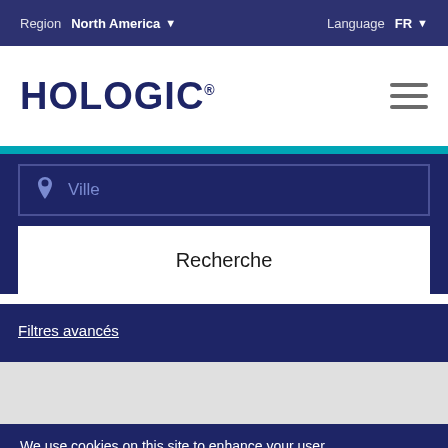Region  North America ▾    Language  FR ▾
[Figure (logo): Hologic logo with registered trademark symbol]
Ville
Recherche
Filtres avancés
We use cookies on this site to enhance your user